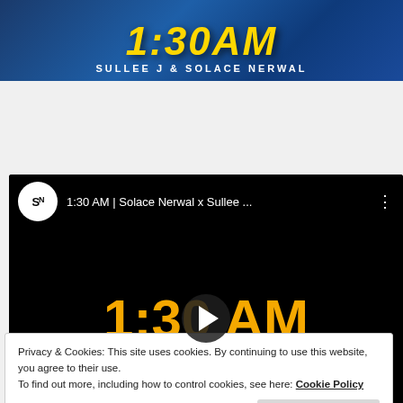[Figure (illustration): Banner image with stylized '1:30 AM' text in gold/yellow italic font on blue gradient background, with subtitle 'SULLEE J & SOLACE NERWAL' in white uppercase letters]
[Figure (screenshot): YouTube video embed showing '1:30 AM | Solace Nerwal x Sullee ...' with SN channel logo, play button, and '1:30 AM' displayed in large gold text on black background]
Privacy & Cookies: This site uses cookies. By continuing to use this website, you agree to their use.
To find out more, including how to control cookies, see here: Cookie Policy
Close and accept